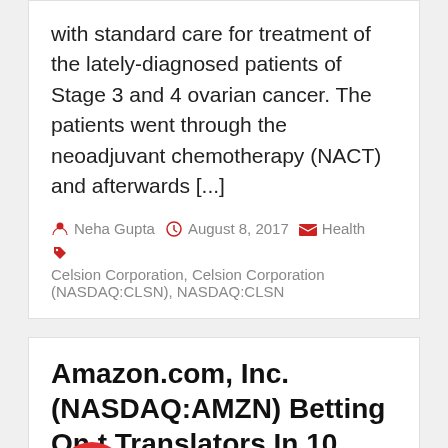with standard care for treatment of the lately-diagnosed patients of Stage 3 and 4 ovarian cancer. The patients went through the neoadjuvant chemotherapy (NACT) and afterwards [...]
Neha Gupta   August 8, 2017   Health   Celsion Corporation, Celsion Corporation (NASDAQ:CLSN), NASDAQ:CLSN
Amazon.com, Inc. (NASDAQ:AMZN) Betting On t Translators In 10 Years